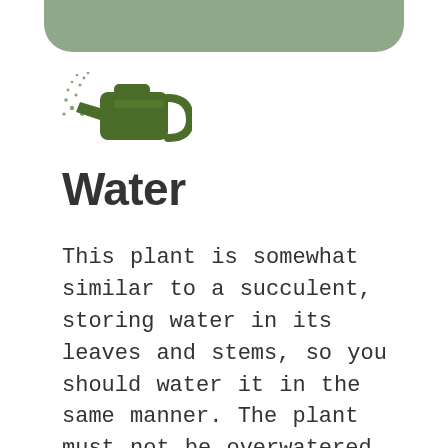[Figure (illustration): A green watering can with water droplets spraying from the spout, used as a decorative icon for the Water section.]
Water
This plant is somewhat similar to a succulent, storing water in its leaves and stems, so you should water it in the same manner. The plant must not be overwatered nor allowed to become completely